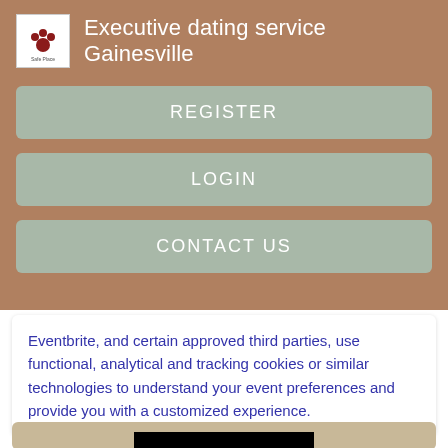Executive dating service Gainesville
REGISTER
LOGIN
CONTACT US
Eventbrite, and certain approved third parties, use functional, analytical and tracking cookies or similar technologies to understand your event preferences and provide you with a customized experience.
[Figure (screenshot): Bottom partial card with dark/black bar, partially visible]